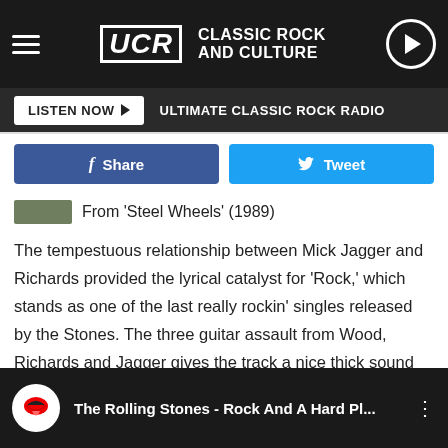UCR Classic Rock and Culture
LISTEN NOW  ULTIMATE CLASSIC ROCK RADIO
Share  Tweet
From 'Steel Wheels' (1989)
The tempestuous relationship between Mick Jagger and Richards provided the lyrical catalyst for 'Rock,' which stands as one of the last really rockin' singles released by the Stones. The three guitar assault from Wood, Richards and Jagger gives the track a nice thick sound that's guaranteed to give your stereo speakers a good workout.
The Rolling Stones - Rock And A Hard Pl...